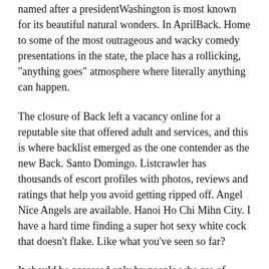named after a presidentWashington is most known for its beautiful natural wonders. In AprilBack. Home to some of the most outrageous and wacky comedy presentations in the state, the place has a rollicking, "anything goes" atmosphere where literally anything can happen.
The closure of Back left a vacancy online for a reputable site that offered adult and services, and this is where backlist emerged as the one contender as the new Back. Santo Domingo. Listcrawler has thousands of escort profiles with photos, reviews and ratings that help you avoid getting ripped off. Angel Nice Angels are available. Hanoi Ho Chi Mihn City. I have a hard time finding a super hot sexy white cock that doesn't flake. Like what you've seen so far?
It should be accessed only by people who are of